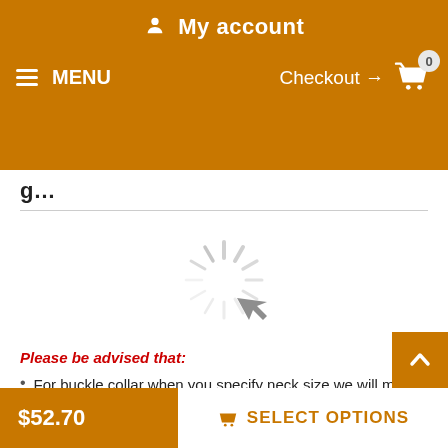My account  ☰ MENU   Checkout → 🛒 0
[Figure (screenshot): Loading spinner / starburst icon in gray]
Please be advised that:
For buckle collar when you specify neck size we will make collar fit on central hole.
There will be total of 5 holes and distance between each 2 holes is 1 inch (25 mm).
For example: your dogs neck size is 20 inches (50 cm). Collar will fit on central hole at 20 inches (50 cm).
There will be 2 smaller size holes - 18 inch (45 cm) and 1…
$52.70   SELECT OPTIONS